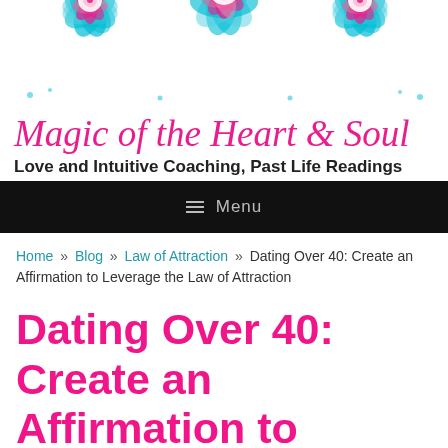[Figure (illustration): Decorative mandala pattern header with pink and blue/teal colors on white background, showing partial mandala designs at the top of the page]
Magic of the Heart & Soul
Love and Intuitive Coaching, Past Life Readings
≡ Menu
Home » Blog » Law of Attraction » Dating Over 40: Create an Affirmation to Leverage the Law of Attraction
Dating Over 40: Create an Affirmation to Leverage the Law of